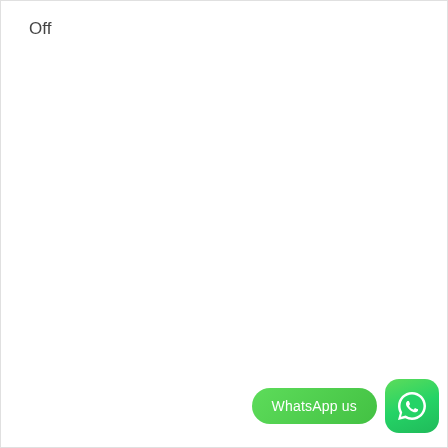Off
[Figure (screenshot): WhatsApp us button with green rounded rectangle and WhatsApp app icon]